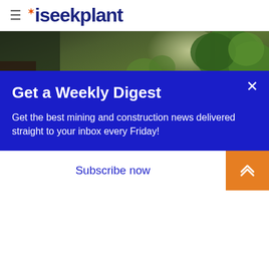iseekplant
[Figure (photo): Outdoor concrete driveway/pathway with green plants and trees, sunlight visible, modern house entrance]
Posted on 9 December 2021
Concrete Resurfacing Cost Guide: How much does it cost to resurface concrete?
Get a Weekly Digest
Get the best mining and construction news delivered straight to your inbox every Friday!
Subscribe now